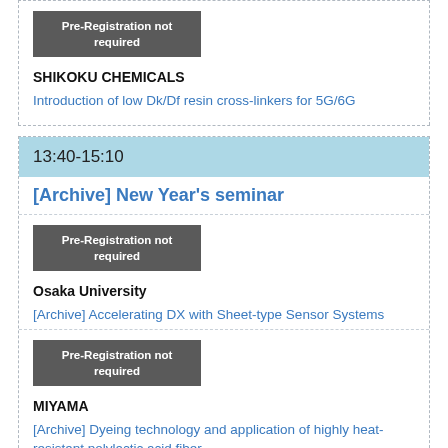Pre-Registration not required
SHIKOKU CHEMICALS
Introduction of low Dk/Df resin cross-linkers for 5G/6G
13:40-15:10
[Archive] New Year's seminar
Pre-Registration not required
Osaka University
[Archive] Accelerating DX with Sheet-type Sensor Systems
Pre-Registration not required
MIYAMA
[Archive] Dyeing technology and application of highly heat-resistant polylactic acid fiber